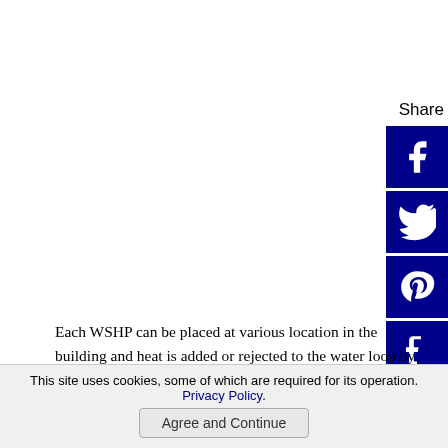Each WSHP can be placed at various location in the building and heat is added or rejected to the water loop by using boiler or cooling tower. Natural form of heat sources or heat rejection
[Figure (other): Social media share sidebar with Facebook, Twitter, Pinterest, Tumblr, Reddit, WhatsApp, and Messenger icons, all dark blue]
This site uses cookies, some of which are required for its operation. Privacy Policy.
Agree and Continue